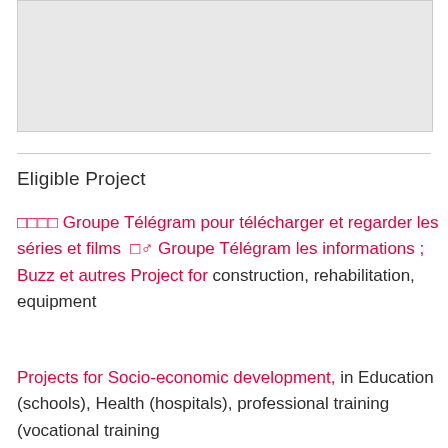[Figure (other): Gray placeholder image area at the top of the page]
Eligible Project
□□□□ Groupe Télégram pour télécharger et regarder les séries et films □♂ Groupe Télégram les informations ; Buzz et autres Project for construction, rehabilitation, equipment
Projects for Socio-economic development, in Education (schools), Health (hospitals), professional training (vocational training